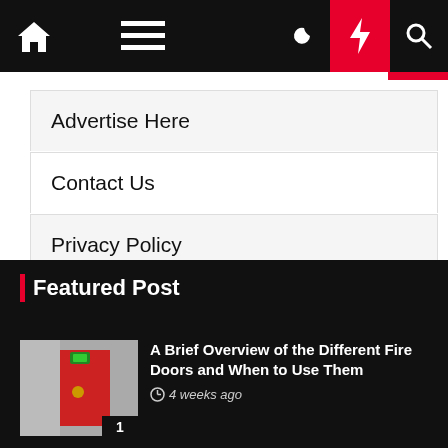Navigation bar with home, menu, moon, bolt, and search icons
Advertise Here
Contact Us
Privacy Policy
Sitemap
Featured Post
A Brief Overview of the Different Fire Doors and When to Use Them
4 weeks ago